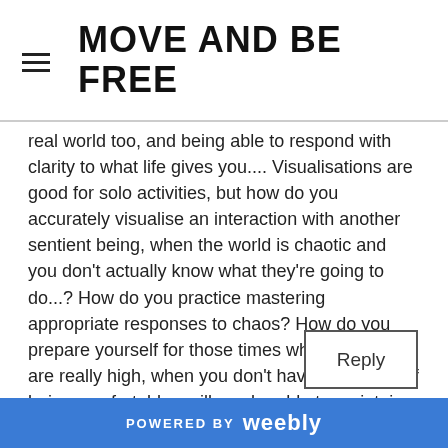MOVE AND BE FREE
real world too, and being able to respond with clarity to what life gives you.... Visualisations are good for solo activities, but how do you accurately visualise an interaction with another sentient being, when the world is chaotic and you don't actually know what they're going to do...? How do you practice mastering appropriate responses to chaos? How do you prepare yourself for those times when the stakes are really high, when you don't have the luxury of being comfortable - will you be able to maintain perspective....? Sigh. Stay tuned for more questions!
POWERED BY weebly